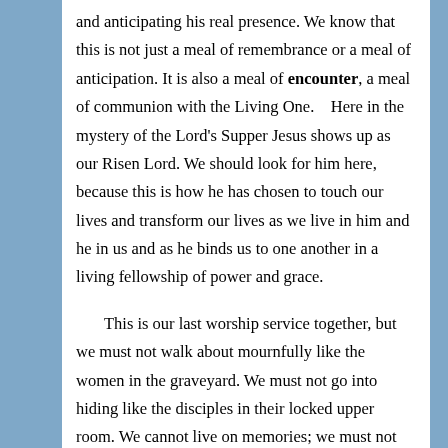and anticipating his real presence.  We know that this is not just a meal of remembrance or a meal of anticipation.  It is also a meal of encounter, a meal of communion with the Living One.    Here in the mystery of the Lord's Supper Jesus shows up as our Risen Lord.  We should look for him here, because this is how he has chosen to touch our lives and transform our lives as we live in him and he in us and as he binds us to one another in a living fellowship of power and grace.
This is our last worship service together, but we must not walk about mournfully like the women in the graveyard.  We must not go into hiding like the disciples in their locked upper room.  We cannot live on memories; we must not long for the past.  We serve a Living Savior who seeks to encounter us here today, and tomorrow, and always in the proclamation of